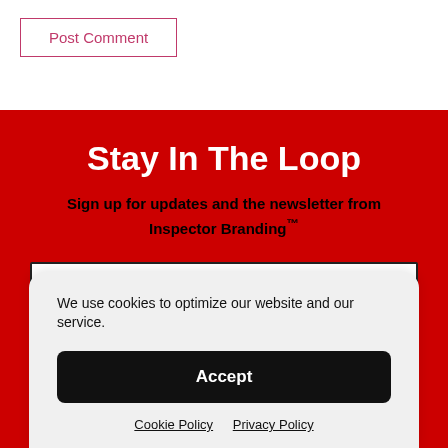Post Comment
Stay In The Loop
Sign up for updates and the newsletter from Inspector Branding™
Name
We use cookies to optimize our website and our service.
Accept
Cookie Policy   Privacy Policy